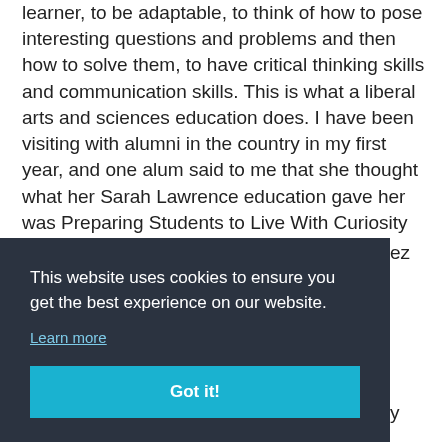learner, to be adaptable, to think of how to pose interesting questions and problems and then how to solve them, to have critical thinking skills and communication skills. This is what a liberal arts and sciences education does. I have been visiting with alumni in the country in my first year, and one alum said to me that she thought what her Sarah Lawrence education gave her was Preparing Students to Live With Curiosity Dr. Karen R Lawrence Title:
This website uses cookies to ensure you get the best experience on our website.
Learn more
Got it!